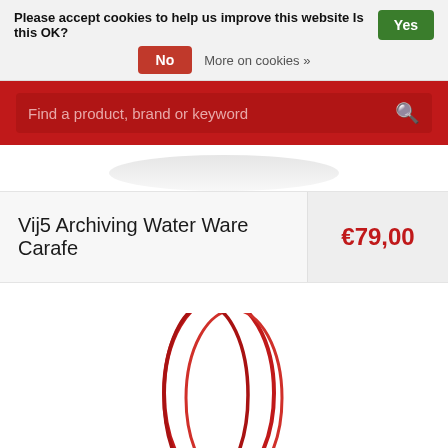Please accept cookies to help us improve this website Is this OK?   Yes
No   More on cookies »
Find a product, brand or keyword
Vij5 Archiving Water Ware Carafe
€79,00
[Figure (photo): Partial view of a red wire/metal carafe handle at the bottom of the page]